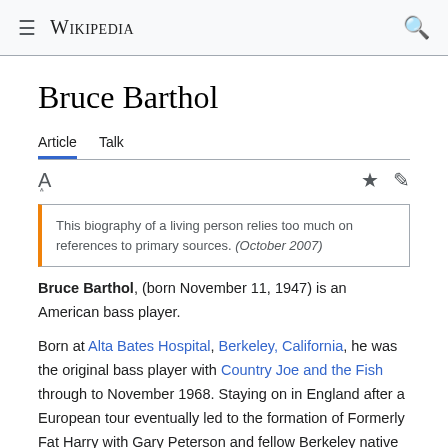Wikipedia
Bruce Barthol
Article  Talk
This biography of a living person relies too much on references to primary sources. (October 2007)
Bruce Barthol, (born November 11, 1947) is an American bass player.
Born at Alta Bates Hospital, Berkeley, California, he was the original bass player with Country Joe and the Fish through to November 1968. Staying on in England after a European tour eventually led to the formation of Formerly Fat Harry with Gary Peterson and fellow Berkeley native